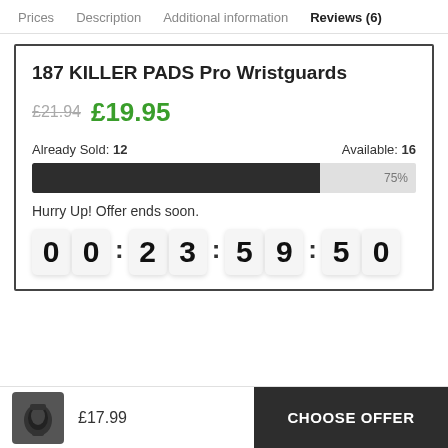Prices   Description   Additional information   Reviews (6)
187 KILLER PADS Pro Wristguards
£21.94  £19.95
Already Sold: 12    Available: 16
75%
Hurry Up! Offer ends soon.
00 : 23 : 59 : 50
£17.99
CHOOSE OFFER